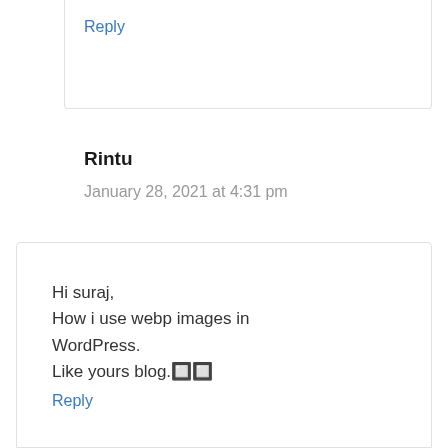Reply
Rintu
January 28, 2021 at 4:31 pm
Hi suraj,
How i use webp images in WordPress.
Like yours blog.🔲🔲
Reply